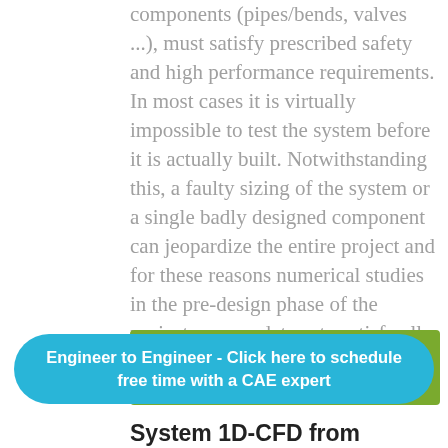components (pipes/bends, valves ...), must satisfy prescribed safety and high performance requirements. In most cases it is virtually impossible to test the system before it is actually built. Notwithstanding this, a faulty sizing of the system or a single badly designed component can jeopardize the entire project and for these reasons numerical studies in the pre-design phase of the project are mandatory to satisfy all requirements.
[Figure (other): Green button/banner with text 'Request Demo']
Engineer to Engineer - Click here to schedule free time with a CAE expert
System 1D-CFD from